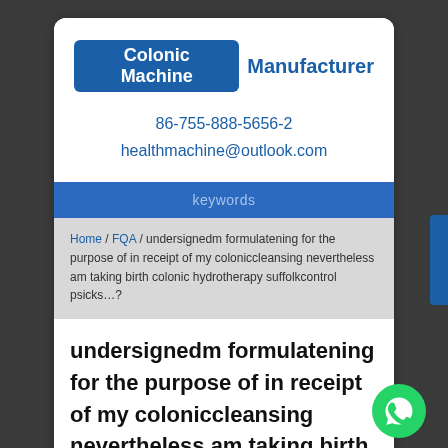Colonic Machine Manufacturer
86-755-888-5656-2
healthmachine@outlook.com
keywords
Home / FQA / undersignedm formulatening for the purpose of in receipt of my coloniccleansing nevertheless am taking birth colonic hydrotherapy suffolkcontrol psicks…?
undersignedm formulatening for the purpose of in receipt of my coloniccleansing nevertheless am taking birth colonic